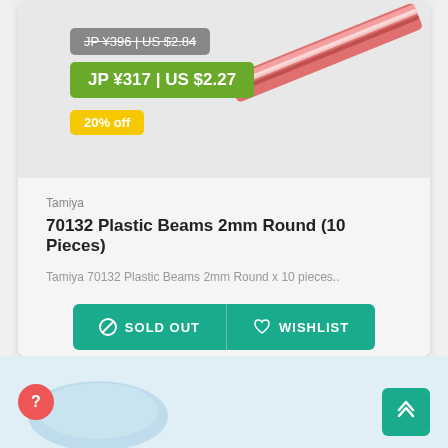JP ¥396 | US $2.84
JP ¥317 | US $2.27
20% off
[Figure (photo): Red and white plastic round beams (rods) at an angle on a light gray background]
Tamiya
70132 Plastic Beams 2mm Round (10 Pieces)
Tamiya 70132 Plastic Beams 2mm Round x 10 pieces..
SOLD OUT  WISHLIST
[Figure (photo): Bottom strip showing partial product image and teal back-to-top button with help button]